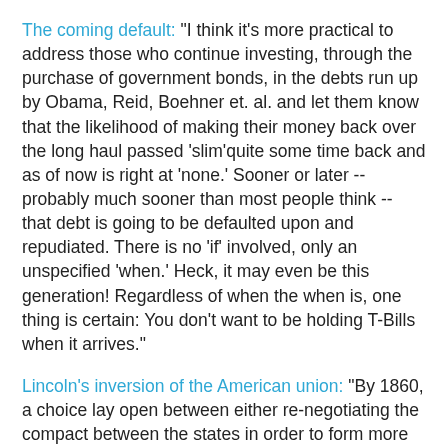The coming default: "I think it's more practical to address those who continue investing, through the purchase of government bonds, in the debts run up by Obama, Reid, Boehner et. al. and let them know that the likelihood of making their money back over the long haul passed 'slim'quite some time back and as of now is right at 'none.' Sooner or later -- probably much sooner than most people think -- that debt is going to be defaulted upon and repudiated. There is no 'if' involved, only an unspecified 'when.' Heck, it may even be this generation! Regardless of when the when is, one thing is certain: You don't want to be holding T-Bills when it arrives."
Lincoln's inversion of the American union: "By 1860, a choice lay open between either re-negotiating the compact between the states in order to form more perfect unions, as John Quincy Adams counseled should happen, or a powerful section would have to conquer the whole and reconstruct it into its own image, subordinating all else to its own interests. Everything in the older American tradition of the self-government of peoples points to the former path. Lincoln